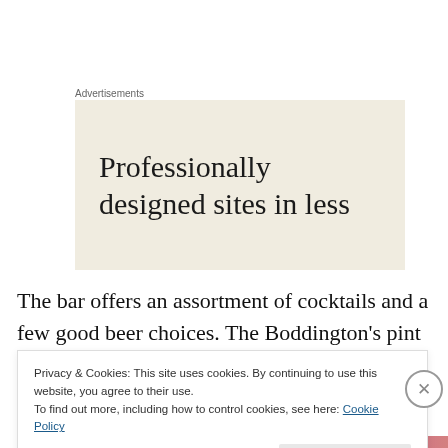Advertisements
[Figure (other): Advertisement banner with beige/cream background showing text: 'Professionally designed sites in less']
The bar offers an assortment of cocktails and a few good beer choices. The Boddington’s pint for NT$150 has to be one of their better deals. The food here is all-American with fancy pants pizzas, an assortment of Mexican
Privacy & Cookies: This site uses cookies. By continuing to use this website, you agree to their use. To find out more, including how to control cookies, see here: Cookie Policy
Close and accept